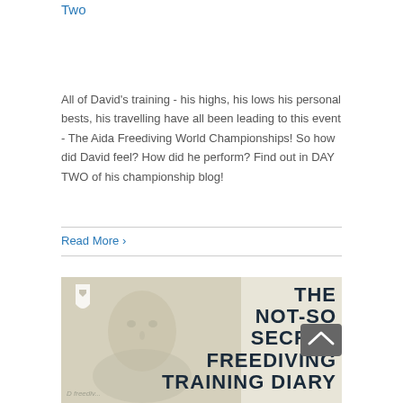Two
All of David's training - his highs, his lows his personal bests, his travelling have all been leading to this event - The Aida Freediving World Championships!  So how did David feel? How did he perform? Find out in DAY TWO of his championship blog!
Read More >
[Figure (photo): Promotional image for 'The Not-So Secret Freediving Training Diary' showing a faded photo of a man with bold text overlay and a freediving logo]